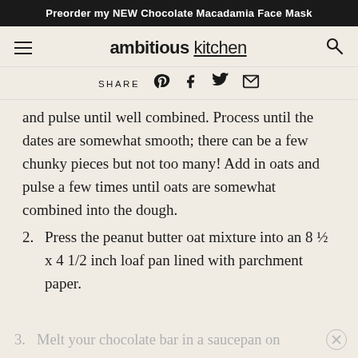Preorder my NEW Chocolate Macadamia Face Mask
[Figure (logo): Ambitious Kitchen logo with hamburger menu and search icon]
SHARE [Pinterest] [Facebook] [Twitter] [Email]
and pulse until well combined. Process until the dates are somewhat smooth; there can be a few chunky pieces but not too many! Add in oats and pulse a few times until oats are somewhat combined into the dough.
Press the peanut butter oat mixture into an 8 ½ x 4 1/2 inch loaf pan lined with parchment paper.
Melt your chocolate bar in a saucepan on